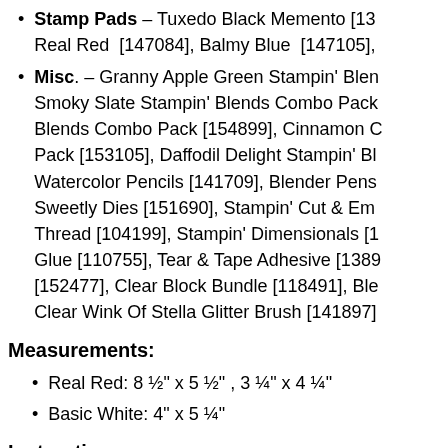Stamp Pads – Tuxedo Black Memento [13... Real Red [147084], Balmy Blue [147105],
Misc. – Granny Apple Green Stampin' Blends Combo Pack, Smoky Slate Stampin' Blends Combo Pack, Blends Combo Pack [154899], Cinnamon C... Pack [153105], Daffodil Delight Stampin' Bl... Watercolor Pencils [141709], Blender Pens, Sweetly Dies [151690], Stampin' Cut & Em... Thread [104199], Stampin' Dimensionals [1... Glue [110755], Tear & Tape Adhesive [1389...], [152477], Clear Block Bundle [118491], Ble... Clear Wink Of Stella Glitter Brush [141897]
Measurements:
Real Red: 8 ½" x 5 ½" , 3 ¼" x 4 ¼"
Basic White: 4" x 5 ¼"
Instructions:
Fold 5 ½" x 8 ½" Real Red card stock in ha...